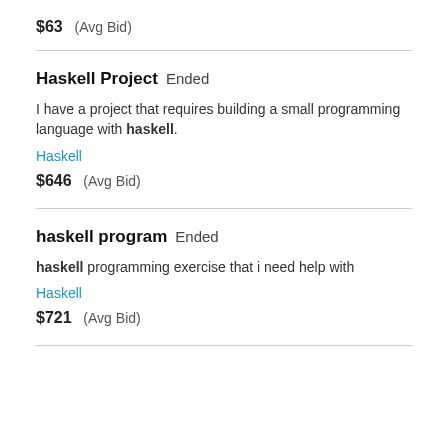$63  (Avg Bid)
Haskell Project  Ended
I have a project that requires building a small programming language with haskell.
Haskell
$646  (Avg Bid)
haskell program  Ended
haskell programming exercise that i need help with
Haskell
$721  (Avg Bid)